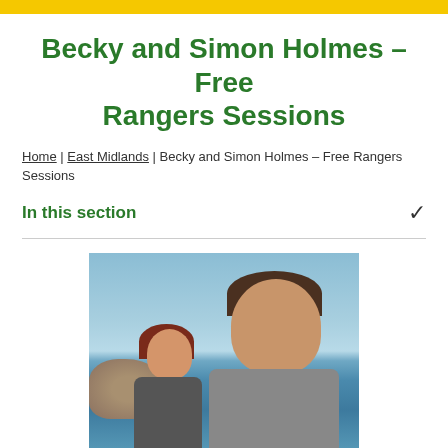CONNECT
Becky and Simon Holmes – Free Rangers Sessions
Home | East Midlands | Becky and Simon Holmes – Free Rangers Sessions
In this section
[Figure (photo): Photo of two people outdoors near the sea – a woman with auburn/red hair on the left and a boy with brown hair on the right, smiling, with ocean and rocks visible in the background]